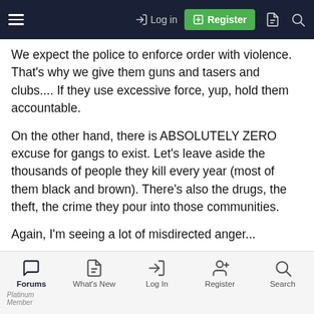Log in | Register
We expect the police to enforce order with violence. That's why we give them guns and tasers and clubs.... If they use excessive force, yup, hold them accountable.
On the other hand, there is ABSOLUTELY ZERO excuse for gangs to exist. Let's leave aside the thousands of people they kill every year (most of them black and brown). There's also the drugs, the theft, the crime they pour into those communities.
Again, I'm seeing a lot of misdirected anger...
Forums | What's New | Log In | Register | Search